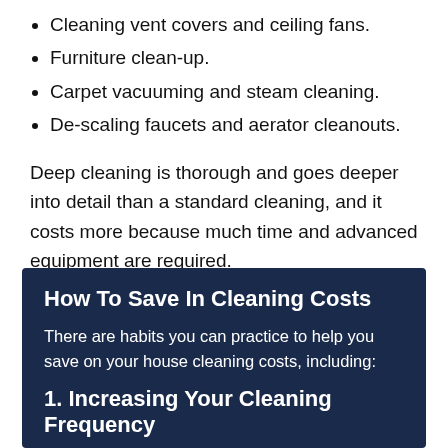Cleaning vent covers and ceiling fans.
Furniture clean-up.
Carpet vacuuming and steam cleaning.
De-scaling faucets and aerator cleanouts.
Deep cleaning is thorough and goes deeper into detail than a standard cleaning, and it costs more because much time and advanced equipment are required.
How To Save In Cleaning Costs
There are habits you can practice to help you save on your house cleaning costs, including:
1. Increasing Your Cleaning Frequency